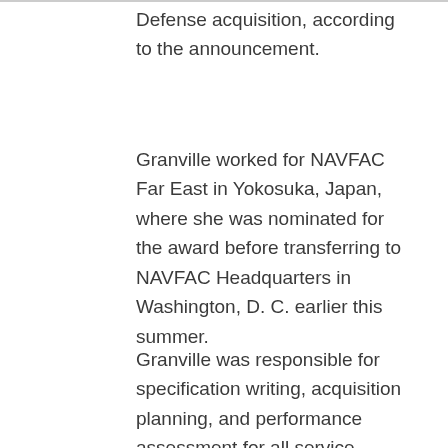Defense acquisition, according to the announcement.
Granville worked for NAVFAC Far East in Yokosuka, Japan, where she was nominated for the award before transferring to NAVFAC Headquarters in Washington, D. C. earlier this summer.
Granville was responsible for specification writing, acquisition planning, and performance assessment for all service